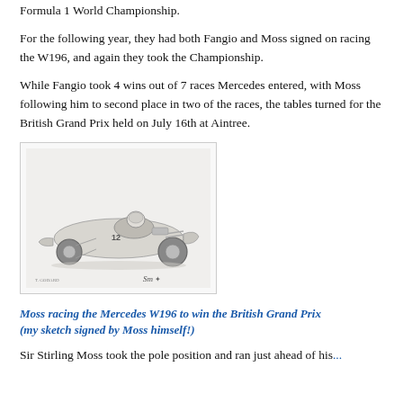Formula 1 World Championship.
For the following year, they had both Fangio and Moss signed on racing the W196, and again they took the Championship.
While Fangio took 4 wins out of 7 races Mercedes entered, with Moss following him to second place in two of the races, the tables turned for the British Grand Prix held on July 16th at Aintree.
[Figure (illustration): Pencil sketch illustration of Stirling Moss racing the Mercedes W196 Formula 1 car (number 12), with a driver in helmet visible, and a signature at bottom right. Artist credit at bottom left.]
Moss racing the Mercedes W196 to win the British Grand Prix (my sketch signed by Moss himself!)
Sir Stirling Moss took the pole position and ran just ahead of his...